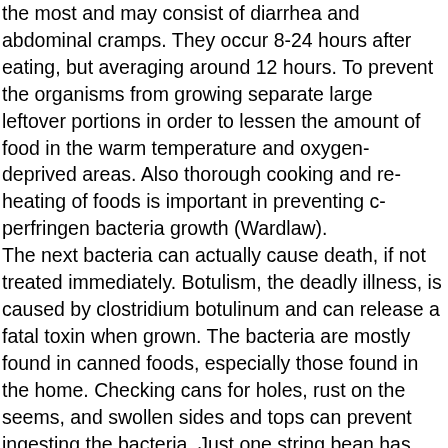the most and may consist of diarrhea and abdominal cramps. They occur 8-24 hours after eating, but averaging around 12 hours. To prevent the organisms from growing separate large leftover portions in order to lessen the amount of food in the warm temperature and oxygen-deprived areas. Also thorough cooking and re-heating of foods is important in preventing c-perfringen bacteria growth (Wardlaw). The next bacteria can actually cause death, if not treated immediately. Botulism, the deadly illness, is caused by clostridium botulinum and can release a fatal toxin when grown. The bacteria are mostly found in canned foods, especially those found in the home. Checking cans for holes, rust on the seems, and swollen sides and tops can prevent ingesting the bacteria. Just one string bean has enough toxin in it to kill a human being. Symptom can appear 12-36 hours